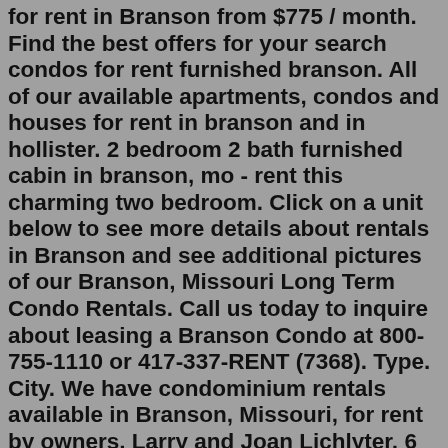for rent in Branson from $775 / month. Find the best offers for your search condos for rent furnished branson. All of our available apartments, condos and houses for rent in branson and in hollister. 2 bedroom 2 bath furnished cabin in branson, mo - rent this charming two bedroom. Click on a unit below to see more details about rentals in Branson and see additional pictures of our Branson, Missouri Long Term Condo Rentals. Call us today to inquire about leasing a Branson Condo at 800-755-1110 or 417-337-RENT (7368). Type. City. We have condominium rentals available in Branson, Missouri, for rent by owners, Larry and Joan Lichlyter, 6 non-smoking vacation condos available close to Silver Dollar City, 2 bedroom 900 sq ft condos sleeps 6 guests, walk in units with great view from large deck. Vacation rentals from $75.00 / night, great rentals and priced right, clergy ... The average days on market for condos for sale in Branson is 14 days. Branson had 15 condos sold within it in 2020, an increase of 88% compared to the year before. Last year condos for sale